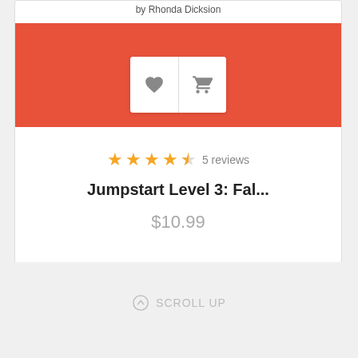by Rhonda Dicksion
[Figure (screenshot): Product card with red banner, heart and cart icon buttons]
5 reviews
Jumpstart Level 3: Fal...
$10.99
SCROLL UP